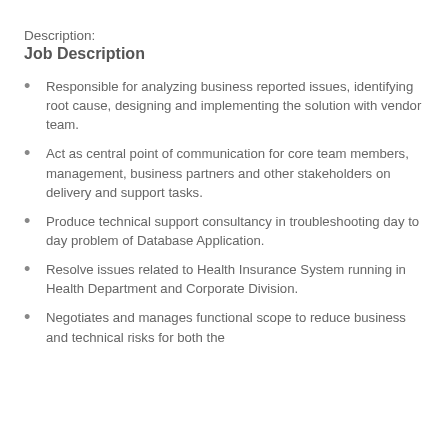Description:
Job Description
Responsible for analyzing business reported issues, identifying root cause, designing and implementing the solution with vendor team.
Act as central point of communication for core team members, management, business partners and other stakeholders on delivery and support tasks.
Produce technical support consultancy in troubleshooting day to day problem of Database Application.
Resolve issues related to Health Insurance System running in Health Department and Corporate Division.
Negotiates and manages functional scope to reduce business and technical risks for both the